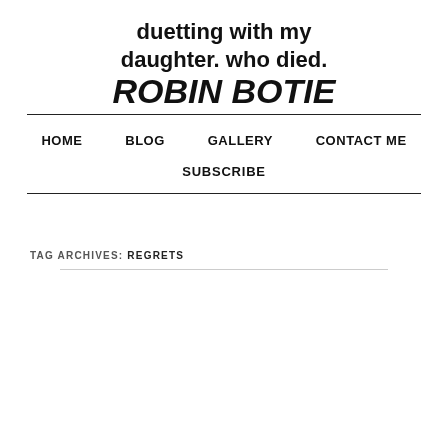duetting with my daughter. who died. ROBIN BOTIE
HOME  BLOG  GALLERY  CONTACT ME  SUBSCRIBE
TAG ARCHIVES: REGRETS